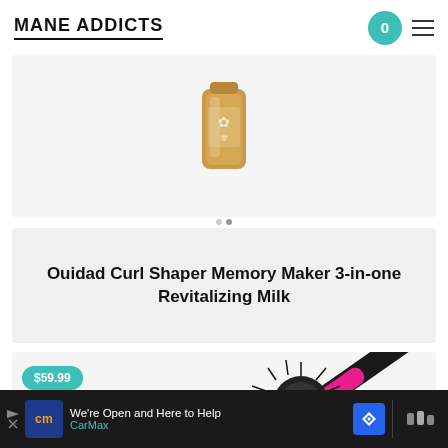MANE ADDICTS
[Figure (photo): Partial view of a hair product bottle (gold/bronze color) shown at the top of a product card]
Ouidad Curl Shaper Memory Maker 3-in-one Revitalizing Milk
[Figure (photo): Hair styling brush/blow dryer brush tool with black and pink handle, price badge showing $59.99 in teal]
[Figure (photo): Advertisement banner: CarMax - We're Open and Here to Help]